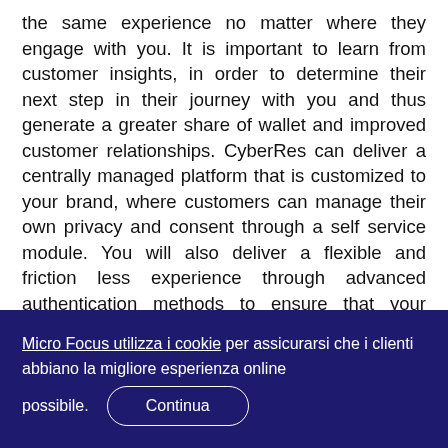the same experience no matter where they engage with you. It is important to learn from customer insights, in order to determine their next step in their journey with you and thus generate a greater share of wallet and improved customer relationships. CyberRes can deliver a centrally managed platform that is customized to your brand, where customers can manage their own privacy and consent through a self service module. You will also deliver a flexible and friction less experience through advanced authentication methods to ensure that your customer is who they say they are.
Micro Focus utilizza i cookie per assicurarsi che i clienti abbiano la migliore esperienza online possibile. Continua